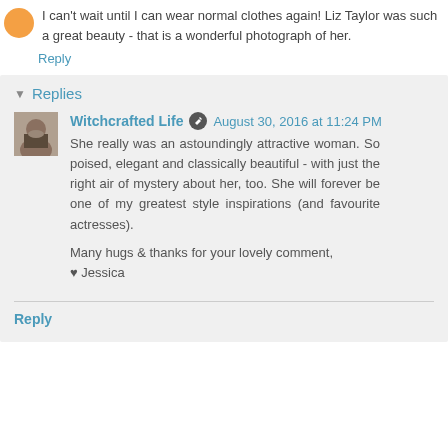I can't wait until I can wear normal clothes again! Liz Taylor was such a great beauty - that is a wonderful photograph of her.
Reply
Replies
Witchcrafted Life  August 30, 2016 at 11:24 PM
She really was an astoundingly attractive woman. So poised, elegant and classically beautiful - with just the right air of mystery about her, too. She will forever be one of my greatest style inspirations (and favourite actresses).

Many hugs & thanks for your lovely comment,
♥ Jessica
Reply